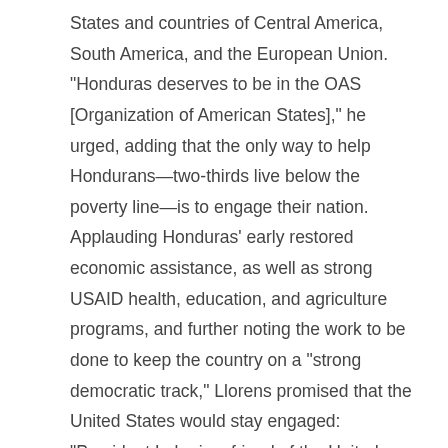States and countries of Central America, South America, and the European Union. "Honduras deserves to be in the OAS [Organization of American States]," he urged, adding that the only way to help Hondurans—two-thirds live below the poverty line—is to engage their nation. Applauding Honduras' early restored economic assistance, as well as strong USAID health, education, and agriculture programs, and further noting the work to be done to keep the country on a "strong democratic track," Llorens promised that the United States would stay engaged: "President Lobo is a friend of the United States."